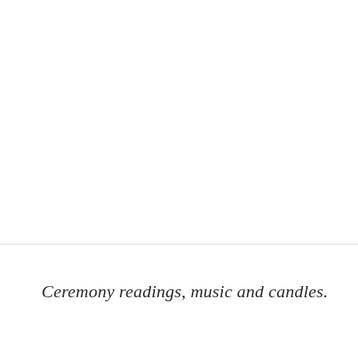Ceremony readings, music and candles.